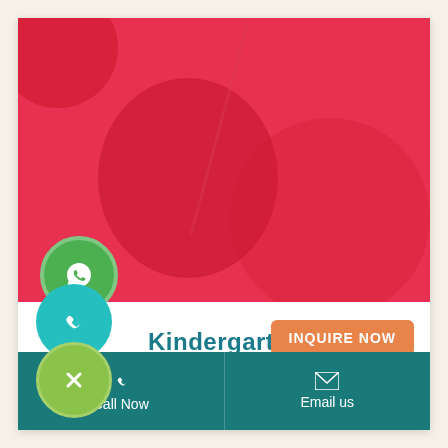[Figure (photo): Red-toned photo of children's hands on a surface, heavily tinted with red/pink overlay]
[Figure (logo): WhatsApp icon in green circle]
[Figure (logo): Phone call icon in teal circle]
Kindergarten
INQUIRE NOW
[Figure (logo): Close/X icon in light green circle]
Call Now
Email us